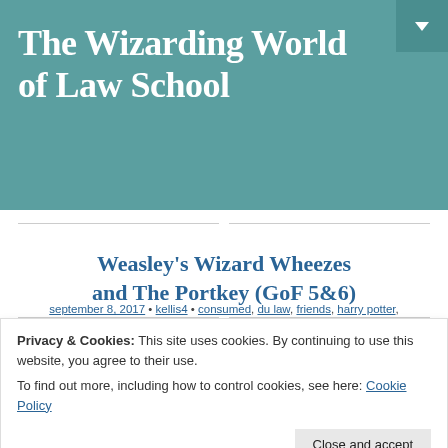The Wizarding World of Law School
Weasley's Wizard Wheezes and The Portkey (GoF 5&6)
september 8, 2017 • kellis4 • consumed, du law, friends, harry potter, humanity, law school, mental health, nyt, studying
We are a month into the new school year, and boy has it been a wild ride already. Being in a clinic, taking two classes, being on a law
Privacy & Cookies: This site uses cookies. By continuing to use this website, you agree to their use.
To find out more, including how to control cookies, see here: Cookie Policy
preparing for Italy and my externship for when I returned, then it was